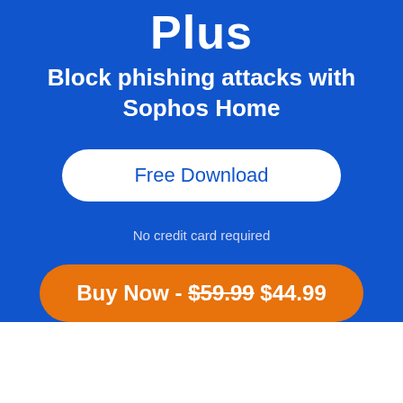Plus
Block phishing attacks with Sophos Home
Free Download
No credit card required
Buy Now - $59.99 $44.99